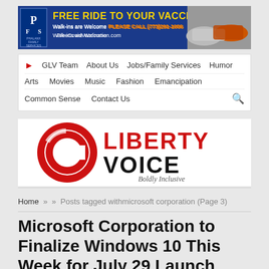[Figure (infographic): Advertisement banner: FREE RIDE TO YOUR VACCINE, Walk-ins are Welcome PLEASE CALL (773)291-1086, FreeCovidVaccination.com, with blue background, PFS Phalanx Family Services logo, and car images on right]
GLV Team   About Us   Jobs/Family Services   Humor   Arts   Movies   Music   Fashion   Emancipation   Common Sense   Contact Us
[Figure (logo): Liberty Voice logo with red circular C icon and bold black/red text reading LIBERTY VOICE, tagline Boldly Inclusive]
Home » » Posts tagged withmicrosoft corporation (Page 3)
Microsoft Corporation to Finalize Windows 10 This Week for July 29 Launch